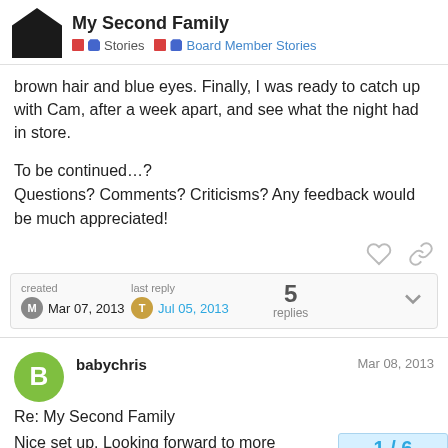My Second Family — Stories — Board Member Stories
brown hair and blue eyes. Finally, I was ready to catch up with Cam, after a week apart, and see what the night had in store.
To be continued…?
Questions? Comments? Criticisms? Any feedback would be much appreciated!
created Mar 07, 2013 — last reply Jul 05, 2013 — 5 replies
babychris — Mar 08, 2013
Re: My Second Family
Nice set up. Looking forward to more
1 / 6